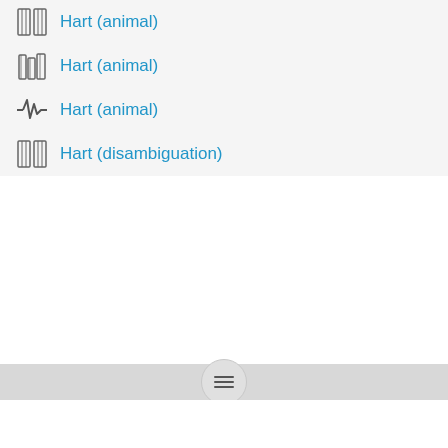Hart (animal)
Hart (animal)
Hart (animal)
Hart (disambiguation)